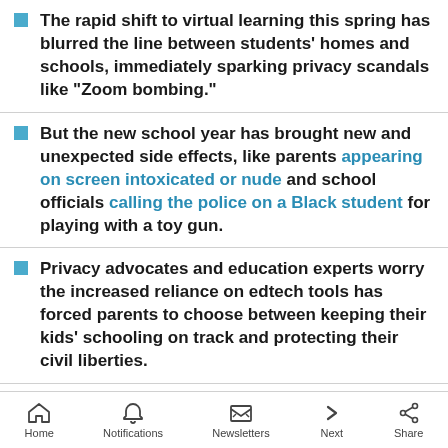The rapid shift to virtual learning this spring has blurred the line between students' homes and schools, immediately sparking privacy scandals like "Zoom bombing."
But the new school year has brought new and unexpected side effects, like parents appearing on screen intoxicated or nude and school officials calling the police on a Black student for playing with a toy gun.
Privacy advocates and education experts worry the increased reliance on edtech tools has forced parents to choose between keeping their kids' schooling on track and protecting their civil liberties.
Citing tech companies' shaky track record on privacy, they're seeking to empower schools.
Home  Notifications  Newsletters  Next  Share